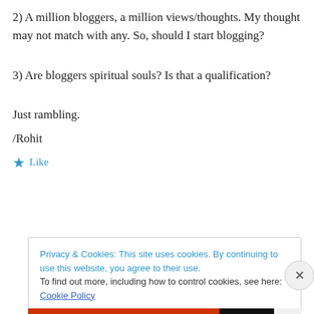2) A million bloggers, a million views/thoughts. My thought may not match with any. So, should I start blogging?
3) Are bloggers spiritual souls? Is that a qualification?
Just rambling.
/Rohit
★ Like
Privacy & Cookies: This site uses cookies. By continuing to use this website, you agree to their use.
To find out more, including how to control cookies, see here: Cookie Policy
Close and accept